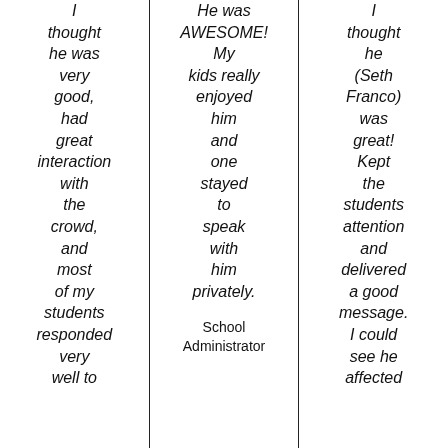I thought he was very good, had great interaction with the crowd, and most of my students responded very well to
He was AWESOME! My kids really enjoyed him and one stayed to speak with him privately.
School Administrator
I thought he (Seth Franco) was great! Kept the students attention and delivered a good message. I could see he affected